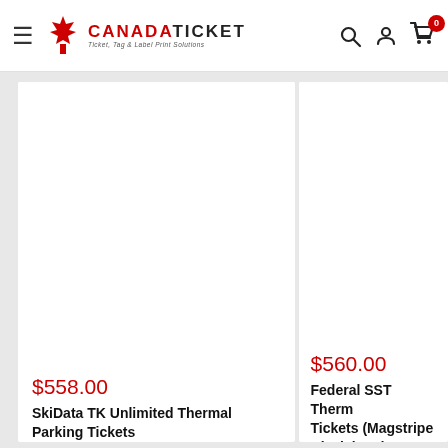[Figure (logo): CanadaTicket logo with red maple leaf and text 'CANADATICKET — Ticket, Tag & Label Print Solutions']
[Figure (screenshot): Product card image area (white/empty) for SkiData TK Unlimited Thermal Parking Tickets]
$558.00
SkiData TK Unlimited Thermal Parking Tickets
[Figure (screenshot): Product card image area (white/empty) for Federal SST Thermal Tickets (Magstripe + Disclaimer)]
$560.00
Federal SST Thermal Tickets (Magstripe + Disclaimer)